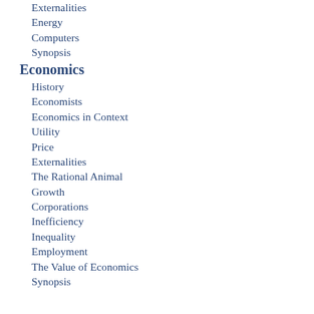Externalities
Energy
Computers
Synopsis
Economics
History
Economists
Economics in Context
Utility
Price
Externalities
The Rational Animal
Growth
Corporations
Inefficiency
Inequality
Employment
The Value of Economics
Synopsis